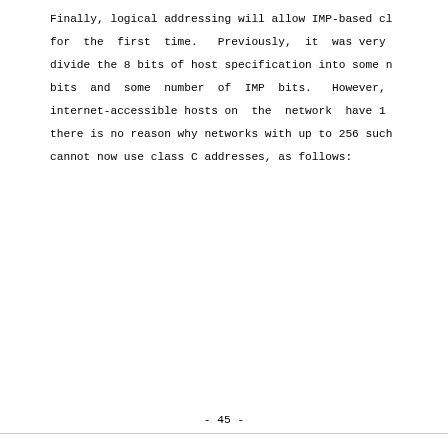Finally, logical addressing will allow IMP-based cl
for the first time.  Previously, it was very
divide the 8 bits of host specification into some n
bits and some number of IMP bits.  However,
internet-accessible hosts on  the  network  have 1
there is no reason why networks with up to 256 such
cannot now use class C addresses, as follows:
- 45 -